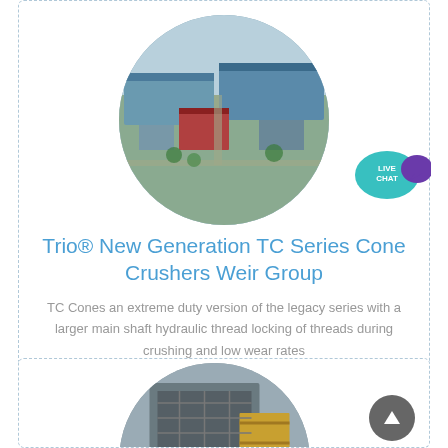[Figure (photo): Aerial view of a large industrial factory complex with blue-roofed buildings, shown in a circular crop]
[Figure (infographic): Live Chat badge/button — teal speech bubble with 'LIVE CHAT' text and a purple speech bubble icon]
Trio® New Generation TC Series Cone Crushers Weir Group
TC Cones an extreme duty version of the legacy series with a larger main shaft hydraulic thread locking of threads during crushing and low wear rates
[Figure (photo): Industrial crusher or mining equipment structure shown in a circular crop, bottom portion of page]